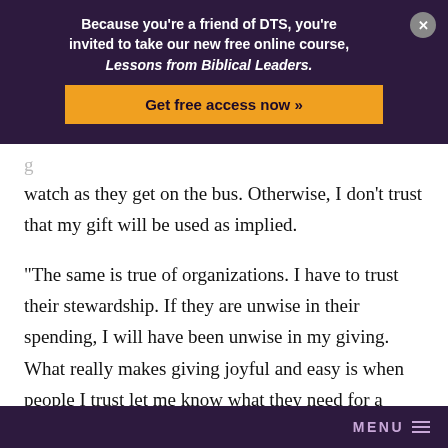Because you're a friend of DTS, you're invited to take our new free online course, Lessons from Biblical Leaders.
Get free access now »
watch as they get on the bus. Otherwise, I don't trust that my gift will be used as implied.
“The same is true of organizations. I have to trust their stewardship. If they are unwise in their spending, I will have been unwise in my giving. What really makes giving joyful and easy is when people I trust let me know what they need for a cause I fully support. Then I give wisely—out of that relationship.”
MENU